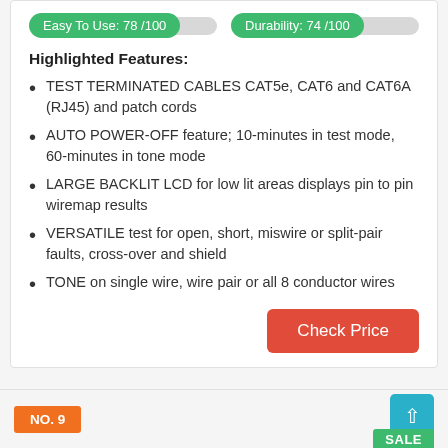[Figure (infographic): Two score/progress bars: 'Easy To Use: 78/100' and 'Durability: 74/100' shown as green pill labels with grey tracks]
Highlighted Features:
TEST TERMINATED CABLES CAT5e, CAT6 and CAT6A (RJ45) and patch cords
AUTO POWER-OFF feature; 10-minutes in test mode, 60-minutes in tone mode
LARGE BACKLIT LCD for low lit areas displays pin to pin wiremap results
VERSATILE test for open, short, miswire or split-pair faults, cross-over and shield
TONE on single wire, wire pair or all 8 conductor wires
Check Price
NO. 9   SALE